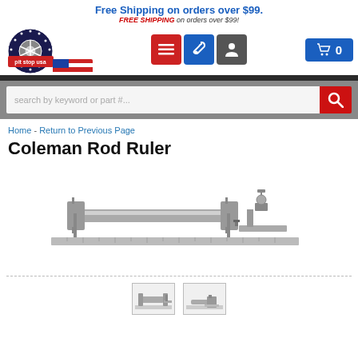Free Shipping on orders over $99.
FREE SHIPPING on orders over $99!
[Figure (logo): Pit Stop USA logo with American flag and circular emblem]
[Figure (infographic): Navigation icons: hamburger menu (red), wrench (blue), person (dark). Cart button with 0.]
[Figure (screenshot): Search bar with placeholder 'search by keyword or part #...' and red search button]
Home - Return to Previous Page
Coleman Rod Ruler
[Figure (photo): Product photo of Coleman Rod Ruler - a metal measuring rod tool with adjustment components and a ruler base]
[Figure (photo): Small thumbnail of Coleman Rod Ruler product image 1]
[Figure (photo): Small thumbnail of Coleman Rod Ruler product image 2]